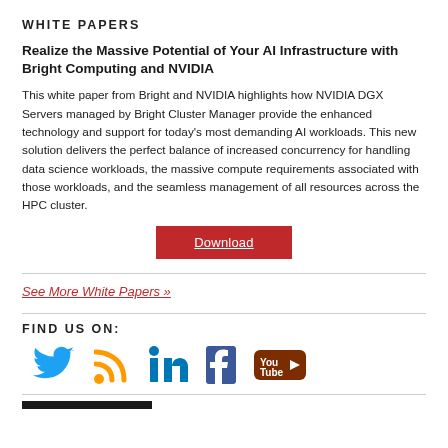WHITE PAPERS
Realize the Massive Potential of Your AI Infrastructure with Bright Computing and NVIDIA
This white paper from Bright and NVIDIA highlights how NVIDIA DGX Servers managed by Bright Cluster Manager provide the enhanced technology and support for today's most demanding AI workloads. This new solution delivers the perfect balance of increased concurrency for handling data science workloads, the massive compute requirements associated with those workloads, and the seamless management of all resources across the HPC cluster.
Download
See More White Papers »
FIND US ON:
[Figure (other): Social media icons: Twitter (blue bird), RSS (orange), LinkedIn (blue), Facebook (blue), YouTube (red/brown)]